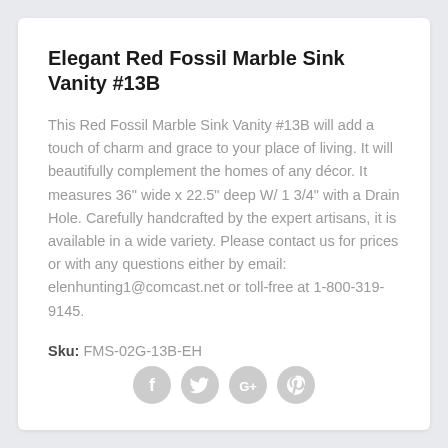Elegant Red Fossil Marble Sink Vanity #13B
This Red Fossil Marble Sink Vanity #13B will add a touch of charm and grace to your place of living. It will beautifully complement the homes of any décor. It measures 36" wide x 22.5" deep W/ 1 3/4" with a Drain Hole. Carefully handcrafted by the expert artisans, it is available in a wide variety. Please contact us for prices or with any questions either by email: elenhunting1@comcast.net or toll-free at 1-800-319-9145.
Sku: FMS-02G-13B-EH
[Figure (other): Social media icons: Facebook, Twitter, Google+, Pinterest]